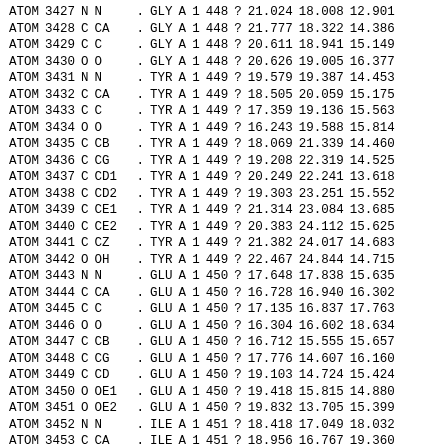| ATOM | 3427 | N | N | . | GLY | A | 1 | 448 | ? | 21.024 | 18.008 | 12.901 |
| ATOM | 3428 | C | CA | . | GLY | A | 1 | 448 | ? | 21.777 | 18.322 | 14.386 |
| ATOM | 3429 | C | C | . | GLY | A | 1 | 448 | ? | 20.611 | 18.941 | 15.149 |
| ATOM | 3430 | O | O | . | GLY | A | 1 | 448 | ? | 20.626 | 19.005 | 16.377 |
| ATOM | 3431 | N | N | . | TYR | A | 1 | 449 | ? | 19.579 | 19.387 | 14.453 |
| ATOM | 3432 | C | CA | . | TYR | A | 1 | 449 | ? | 18.505 | 20.059 | 15.175 |
| ATOM | 3433 | C | C | . | TYR | A | 1 | 449 | ? | 17.359 | 19.136 | 15.563 |
| ATOM | 3434 | O | O | . | TYR | A | 1 | 449 | ? | 16.243 | 19.588 | 15.814 |
| ATOM | 3435 | C | CB | . | TYR | A | 1 | 449 | ? | 18.069 | 21.339 | 14.460 |
| ATOM | 3436 | C | CG | . | TYR | A | 1 | 449 | ? | 19.208 | 22.319 | 14.525 |
| ATOM | 3437 | C | CD1 | . | TYR | A | 1 | 449 | ? | 20.249 | 22.241 | 13.618 |
| ATOM | 3438 | C | CD2 | . | TYR | A | 1 | 449 | ? | 19.303 | 23.251 | 15.552 |
| ATOM | 3439 | C | CE1 | . | TYR | A | 1 | 449 | ? | 21.314 | 23.084 | 13.685 |
| ATOM | 3440 | C | CE2 | . | TYR | A | 1 | 449 | ? | 20.383 | 24.112 | 15.625 |
| ATOM | 3441 | C | CZ | . | TYR | A | 1 | 449 | ? | 21.382 | 24.017 | 14.683 |
| ATOM | 3442 | O | OH | . | TYR | A | 1 | 449 | ? | 22.467 | 24.844 | 14.715 |
| ATOM | 3443 | N | N | . | GLU | A | 1 | 450 | ? | 17.648 | 17.838 | 15.635 |
| ATOM | 3444 | C | CA | . | GLU | A | 1 | 450 | ? | 16.728 | 16.940 | 16.302 |
| ATOM | 3445 | C | C | . | GLU | A | 1 | 450 | ? | 17.135 | 16.837 | 17.763 |
| ATOM | 3446 | O | O | . | GLU | A | 1 | 450 | ? | 16.304 | 16.602 | 18.634 |
| ATOM | 3447 | C | CB | . | GLU | A | 1 | 450 | ? | 16.712 | 15.555 | 15.657 |
| ATOM | 3448 | C | CG | . | GLU | A | 1 | 450 | ? | 17.776 | 14.607 | 16.160 |
| ATOM | 3449 | C | CD | . | GLU | A | 1 | 450 | ? | 19.103 | 14.724 | 15.424 |
| ATOM | 3450 | O | OE1 | . | GLU | A | 1 | 450 | ? | 19.418 | 15.815 | 14.880 |
| ATOM | 3451 | O | OE2 | . | GLU | A | 1 | 450 | ? | 19.832 | 13.705 | 15.399 |
| ATOM | 3452 | N | N | . | ILE | A | 1 | 451 | ? | 18.418 | 17.049 | 18.032 |
| ATOM | 3453 | C | CA | . | ILE | A | 1 | 451 | ? | 18.956 | 16.767 | 19.360 |
| ATOM | 3454 | C | C | . | ILE | A | 1 | 451 | ? | 18.166 | 17.452 | 20.488 |
| ATOM | 3455 | O | O | . | ILE | A | 1 | 451 | ? | 17.680 | 16.781 | 21.395 |
| ATOM | 3456 | C | CB | . | ILE | A | 1 | 451 | ? | 20.462 | 17.068 | 19.425 |
| ATOM | 3457 | C | CG1 | . | ILE | A | 1 | 451 | ? | 21.010 | 16.176 | 18.421 |